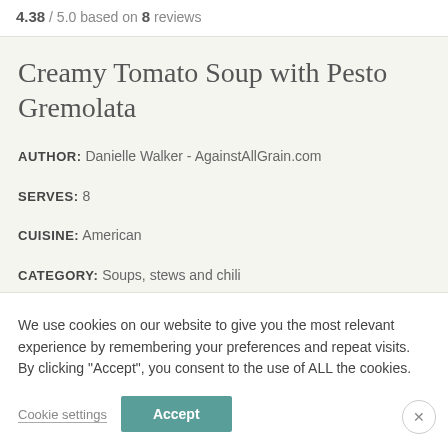4.38 / 5.0 based on 8 reviews
Creamy Tomato Soup with Pesto Gremolata
AUTHOR: Danielle Walker - AgainstAllGrain.com
SERVES: 8
CUISINE: American
CATEGORY: Soups, stews and chili
We use cookies on our website to give you the most relevant experience by remembering your preferences and repeat visits. By clicking "Accept", you consent to the use of ALL the cookies.
Cookie settings
Accept